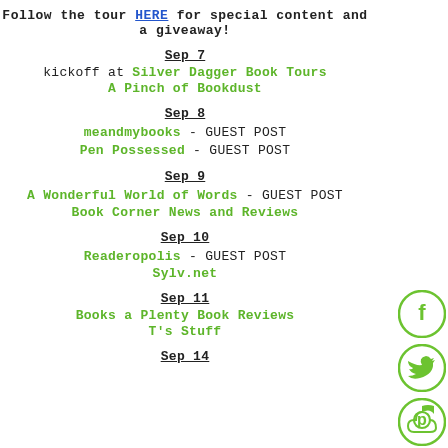Follow the tour HERE for special content and a giveaway!
Sep 7
kickoff at Silver Dagger Book Tours
A Pinch of Bookdust
Sep 8
meandmybooks - GUEST POST
Pen Possessed - GUEST POST
Sep 9
A Wonderful World of Words - GUEST POST
Book Corner News and Reviews
Sep 10
Readeropolis - GUEST POST
Sylv.net
Sep 11
Books a Plenty Book Reviews
T's Stuff
Sep 14